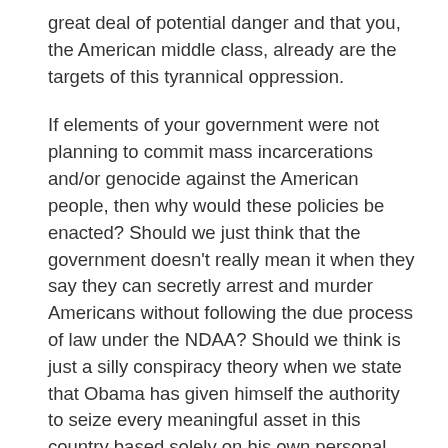great deal of potential danger and that you, the American middle class, already are the targets of this tyrannical oppression.
If elements of your government were not planning to commit mass incarcerations and/or genocide against the American people, then why would these policies be enacted? Should we just think that the government doesn't really mean it when they say they can secretly arrest and murder Americans without following the due process of law under the NDAA? Should we think is just a silly conspiracy theory when we state that Obama has given himself the authority to seize every meaningful asset in this country based solely on his own personal say-so? Is America so dumbed-down to not be able recognize the danger when it's staring us in the face, The danger is in print, click on the hypertext links and read for yourself that the elite are telling you what they are planning to do to you.
I find it laughable how the country has been conditioned to laugh at any kind of conspiracy theory, as if two evil men would never get together and conspire to do anything. The refusal of Americans to recognize these dangers, and dismiss them as merely wild-eyed conspiracy theories, speaks to how dumbed